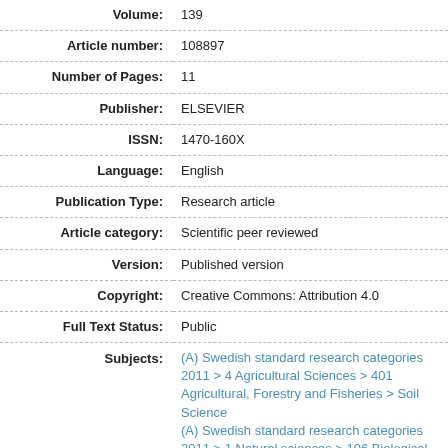| Volume: | 139 |
| Article number: | 108897 |
| Number of Pages: | 11 |
| Publisher: | ELSEVIER |
| ISSN: | 1470-160X |
| Language: | English |
| Publication Type: | Research article |
| Article category: | Scientific peer reviewed |
| Version: | Published version |
| Copyright: | Creative Commons: Attribution 4.0 |
| Full Text Status: | Public |
| Subjects: | (A) Swedish standard research categories 2011 > 4 Agricultural Sciences > 401 Agricultural, Forestry and Fisheries > Soil Science
(A) Swedish standard research categories 2011 > 1 Natural sciences > 106 Biological Sciences (Medical to be 3 and Agricultural to be 4) > Microbiology (Microbiology in the medical area to be 30109) |
| Keywords: | Taxonomic resolution, Microbial communities, Diversity indices, Soil... |